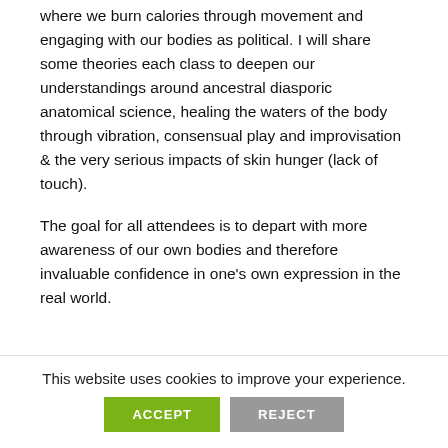where we burn calories through movement and engaging with our bodies as political. I will share some theories each class to deepen our understandings around ancestral diasporic anatomical science, healing the waters of the body through vibration, consensual play and improvisation & the very serious impacts of skin hunger (lack of touch).

The goal for all attendees is to depart with more awareness of our own bodies and therefore invaluable confidence in one's own expression in the real world.
This website uses cookies to improve your experience.